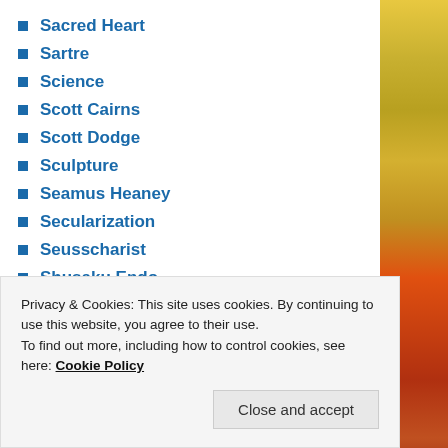Sacred Heart
Sartre
Science
Scott Cairns
Scott Dodge
Sculpture
Seamus Heaney
Secularization
Seusscharist
Shusaku Endo
Simone Weil
SJ
Slavery
Slavoj Zizek
Privacy & Cookies: This site uses cookies. By continuing to use this website, you agree to their use.
To find out more, including how to control cookies, see here: Cookie Policy